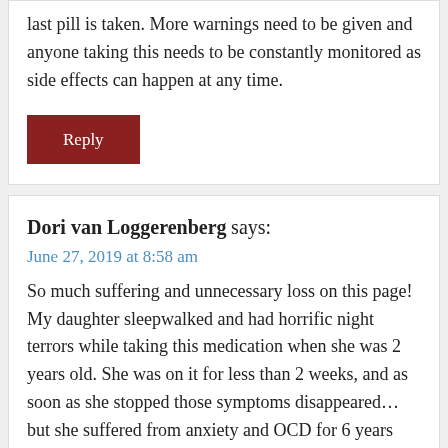last pill is taken. More warnings need to be given and anyone taking this needs to be constantly monitored as side effects can happen at any time.
Reply
Dori van Loggerenberg says:
June 27, 2019 at 8:58 am
So much suffering and unnecessary loss on this page! My daughter sleepwalked and had horrific night terrors while taking this medication when she was 2 years old. She was on it for less than 2 weeks, and as soon as she stopped those symptoms disappeared… but she suffered from anxiety and OCD for 6 years afterwards. A friend of mine gave it to her 8-